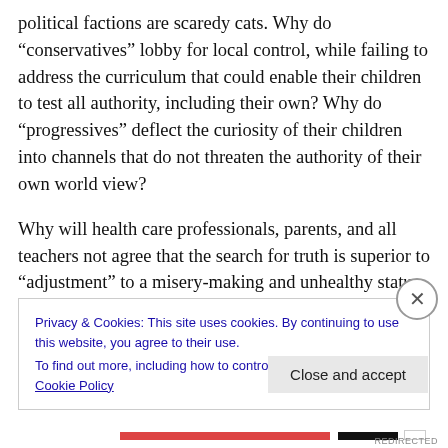political factions are scaredy cats. Why do “conservatives” lobby for local control, while failing to address the curriculum that could enable their children to test all authority, including their own? Why do “progressives” deflect the curiosity of their children into channels that do not threaten the authority of their own world view?
Why will health care professionals, parents, and all teachers not agree that the search for truth is superior to “adjustment” to a misery-making and unhealthy status quo? With all the chatter around socialized medicine or the
Privacy & Cookies: This site uses cookies. By continuing to use this website, you agree to their use.
To find out more, including how to control cookies, see here: Cookie Policy